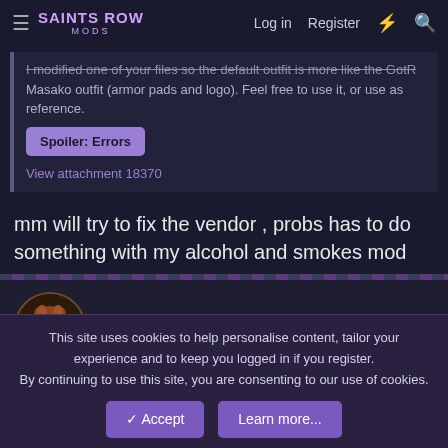Saints Row Mods | Log in | Register
I modified one of your files so the default outfit is more like the GotR Masako outfit (armor pads and logo). Feel free to use it, or use as reference.
Spoiler: Errors
View attachment 18370
mm will try to fix the vendor , probs has to do something with my alcohol and smokes mod
MasakoTeam
May 2, 2018 #6
This site uses cookies to help personalise content, tailor your experience and to keep you logged in if you register.
By continuing to use this site, you are consenting to our use of cookies.
✓ Accept   Learn more...